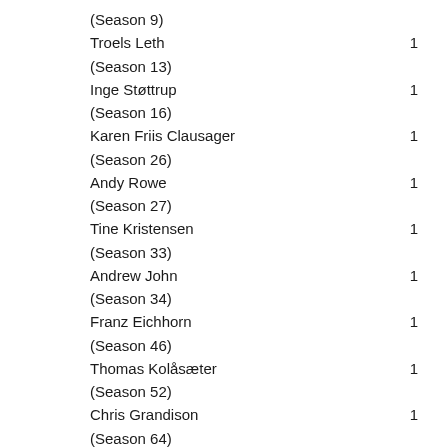(Season 9)
Troels Leth    1
(Season 13)
Inge Støttrup    1
(Season 16)
Karen Friis Clausager    1
(Season 26)
Andy Rowe    1
(Season 27)
Tine Kristensen    1
(Season 33)
Andrew John    1
(Season 34)
Franz Eichhorn    1
(Season 46)
Thomas Kolåsæter    1
(Season 52)
Chris Grandison    1
(Season 64)